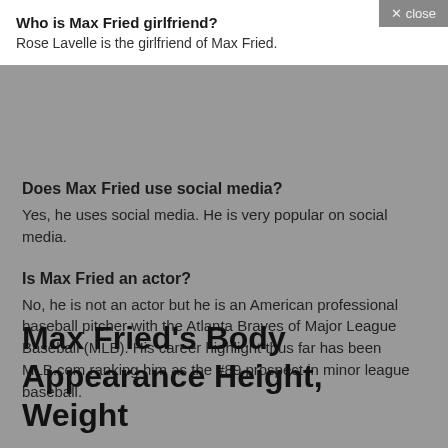Who is Max Fried girlfriend?
Rose Lavelle is the girlfriend of Max Fried.
Does Max Fried use social media?
Yes, he uses social media. He is very popular on social media.
Is Max Fried an actor?
No, he is not an actor but he is an American professional baseball pitcher with the Atlanta Braves of Major League Baseball (MLB). His career highlight thus far has been MLB.com ranking him as the #89 prospect in minor league baseball.
Max Fried's Body Appearance Height, Weight